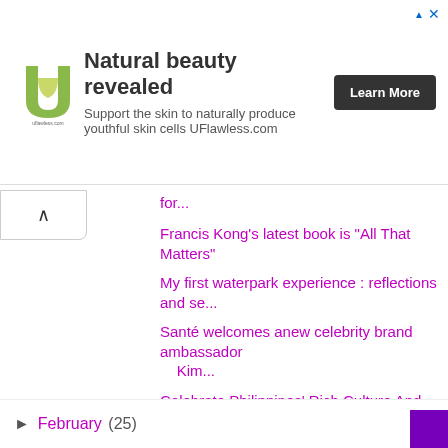[Figure (logo): UFlawless.com green U-shaped logo]
Natural beauty revealed
Support the skin to naturally produce youthful skin cells UFlawless.com
Learn More
for...
Francis Kong's latest book is "All That Matters"
My first waterpark experience : reflections and se...
Santé welcomes anew celebrity brand ambassador Kim...
Celebrate Philippines' Rich Culture And Traditions...
McDonald's brings the exciting Flavors of Japan t...
The 10th Philippine International Pyromusical Comp...
Bask under the glorious Palawan sun with the first...
Another successful Thanksgiving Party of the Unite...
Your kid's time to shine at the SM Little Stars 2019
► February (25)